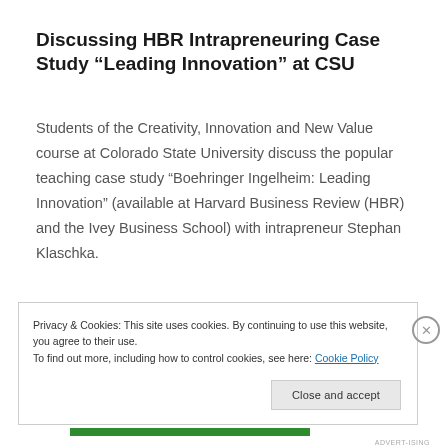Discussing HBR Intrapreneuring Case Study “Leading Innovation” at CSU
Students of the Creativity, Innovation and New Value course at Colorado State University discuss the popular teaching case study “Boehringer Ingelheim: Leading Innovation” (available at Harvard Business Review (HBR) and the Ivey Business School) with intrapreneur Stephan Klaschka.
Privacy & Cookies: This site uses cookies. By continuing to use this website, you agree to their use.
To find out more, including how to control cookies, see here: Cookie Policy